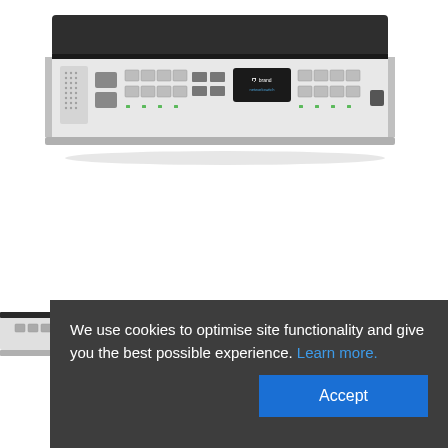[Figure (photo): Network switch hardware — a 1U rack-mount managed network switch with dark top panel, white/silver front face, multiple RJ45 ports, SFP ports, and a central logo badge]
[Figure (photo): Partial view of another network switch device, bottom-left corner of the page, partially obscured by cookie banner]
We use cookies to optimise site functionality and give you the best possible experience. Learn more.